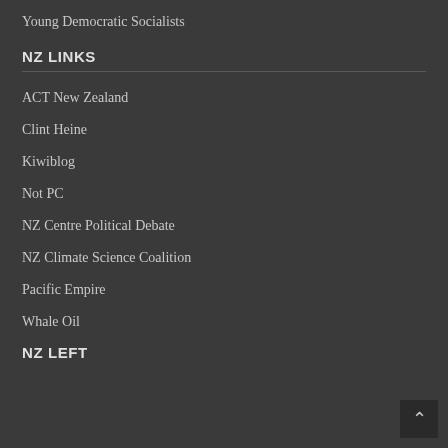Young Democratic Socialists
NZ LINKS
ACT New Zealand
Clint Heine
Kiwiblog
Not PC
NZ Centre Political Debate
NZ Climate Science Coalition
Pacific Empire
Whale Oil
NZ LEFT